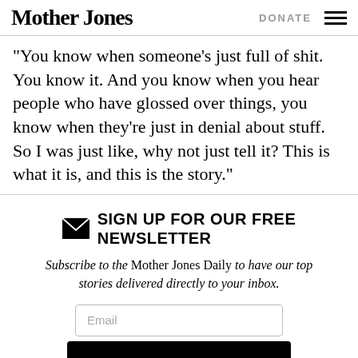Mother Jones | DONATE
“You know when someone’s just full of shit. You know it. And you know when you hear people who have glossed over things, you know when they’re just in denial about stuff. So I was just like, why not just tell it? This is what it is, and this is the story.”
SIGN UP FOR OUR FREE NEWSLETTER
Subscribe to the Mother Jones Daily to have our top stories delivered directly to your inbox.
Email